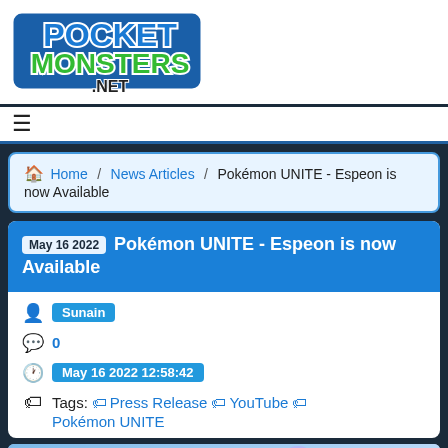[Figure (logo): PocketMonsters.NET logo — blue and green stylized text with white border/shadow effect]
≡ (hamburger menu icon)
🏠 Home / News Articles / Pokémon UNITE - Espeon is now Available
May 16 2022  Pokémon UNITE - Espeon is now Available
Author: Sunain
Comments: 0
Date: May 16 2022 12:58:42
Tags: Press Release  YouTube  Pokémon UNITE
[Figure (photo): Pokémon UNITE promotional image with fireworks and blue sky background, Pokémon UNITE logo visible at lower left]